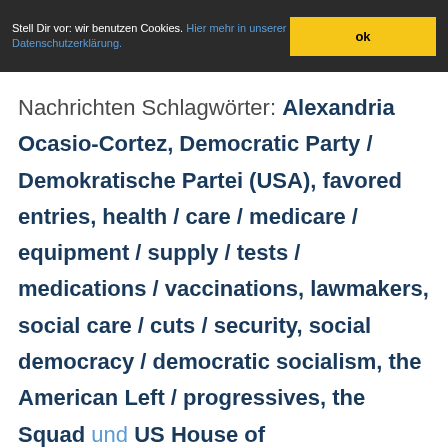Stell Dir vor: wir benutzen Cookies. Hier mehr in unserer Datenschutzerklärung. ok
Nachrichten Schlagwörter: Alexandria Ocasio-Cortez, Democratic Party / Demokratische Partei (USA), favored entries, health / care / medicare / equipment / supply / tests / medications / vaccinations, lawmakers, social care / cuts / security, social democracy / democratic socialism, the American Left / progressives, the Squad und US House of Representatives (Congress chamber).